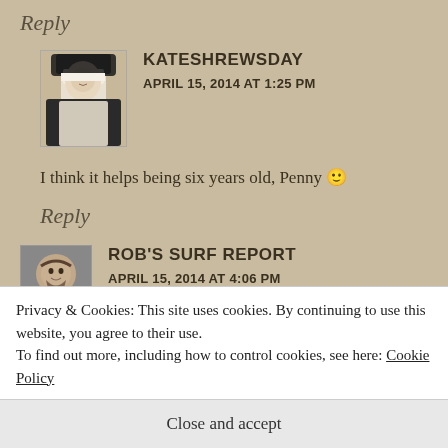Reply
KATESHREWSDAY
APRIL 15, 2014 AT 1:25 PM
I think it helps being six years old, Penny 🙂
Reply
ROB'S SURF REPORT
APRIL 15, 2014 AT 4:06 PM
Privacy & Cookies: This site uses cookies. By continuing to use this website, you agree to their use.
To find out more, including how to control cookies, see here: Cookie Policy
Close and accept